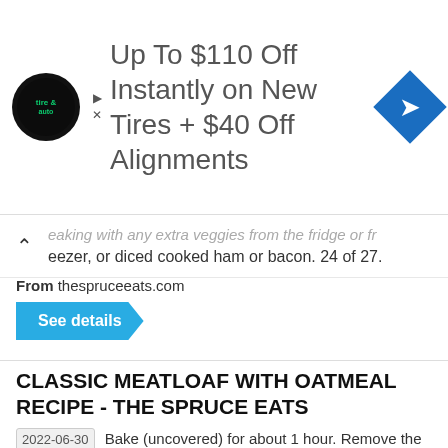[Figure (infographic): Advertisement banner for tire and auto service: circular logo with 'tire & auto' text, headline 'Up To $110 Off Instantly on New Tires + $40 Off Alignments', blue diamond arrow icon on the right]
...eaking with any extra veggies from the fridge or freezer, or diced cooked ham or bacon. 24 of 27.
From thespruceeats.com
See details
CLASSIC MEATLOAF WITH OATMEAL RECIPE - THE SPRUCE EATS
2022-06-30  Bake (uncovered) for about 1 hour. Remove the meatloaf from the oven and tilt the pan to drain off the grease. Spread the remaining glaze on top and return to the oven for 10 more minutes, or until meatloaf reaches an internal temperature of 160 F. Let stand on a wire rack for 15 minutes before slicing and serving.
From thespruceeats.com